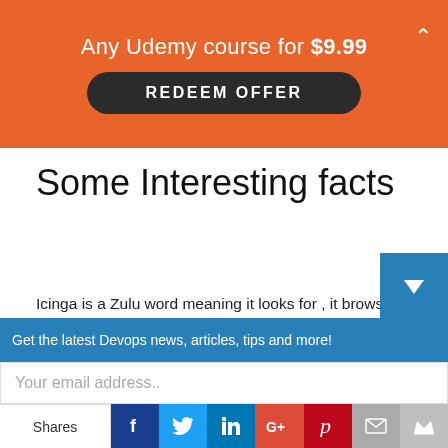Any Udemy course for $9.99 REDEEM OFFER
Some Interesting facts
Icinga is a Zulu word meaning it looks for , it browses , it examines. As far as we can tell, it is pronounced with one of the famous Zulu click consonants. So it should be almost impossible for Non-Zulu people to pronounce it correct. So the best answer probably You can pronounce it any way you like.
Get the latest Devops news, articles, tips and more!
Your email address..